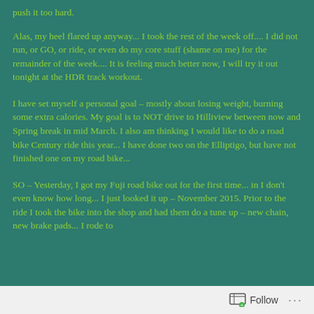push it too hard.
Alas, my heel flared up anyway... I took the rest of the week off.... I did not run, or GO, or ride, or even do my core stuff (shame on me) for the remainder of the week.... It is feeling much better now, I will try it out tonight at the HDR track workout.
I have set myself a personal goal – mostly about losing weight, burning some extra calories. My goal is to NOT drive to Hilliview between now and Spring break in mid March. I also am thinking I would like to do a road bike Century ride this year... I have done two on the Elliptigo, but have not finished one on my road bike...
SO – Yesterday, I got my Fuji road bike out for the first time... in I don't even know how long... I just looked it up – November 2015. Prior to the ride I took the bike into the shop and had them do a tune up – new chain, new brake pads... I rode to
Follow